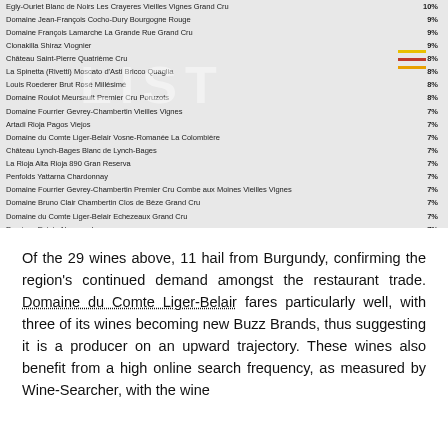| Wine | % |
| --- | --- |
| Egly-Ouriet Blanc de Noirs Les Crayeres Vieilles Vignes Grand Cru | 10% |
| Domaine Jean-François Cocho-Dury Bourgogne Rouge | 9% |
| Domaine François Lamarche La Grande Rue Grand Cru | 9% |
| Clonakilla Shiraz Viognier | 9% |
| Château Saint-Pierre Quatrième Cru | 8% |
| La Spinetta (Rivetti) Moscato d'Asti Bricco Quaglia | 8% |
| Louis Roederer Brut Rosé Millésimé | 8% |
| Domaine Roulot Meursault Premier Cru Poruzots | 8% |
| Domaine Fourrier Gevrey-Chambertin Vieilles Vignes | 7% |
| Artadi Rioja Pagos Viejos | 7% |
| Domaine du Comte Liger-Belair Vosne-Romanée La Colombière | 7% |
| Château Lynch-Bages Blanc de Lynch-Bages | 7% |
| La Rioja Alta Rioja 890 Gran Reserva | 7% |
| Penfolds Yattarna Chardonnay | 7% |
| Domaine Fourrier Gevrey-Chambertin Premier Cru Combe aux Moines Vieilles Vignes | 7% |
| Domaine Bruno Clair Chambertin Clos de Bèze Grand Cru | 7% |
| Domaine du Comte Liger-Belair Echezeaux Grand Cru | 7% |
| Dominus Estate Napanook | 7% |
| Domaine Jacques-Frédéric Mugnier Chambolle-Musigny Premier Cru Les Amoureuses | 7% |
| Château Lalleur Pensées de Lafleur | 7% |
| Domaine du Comte Liger-Belair Vosne-Romanée | 7% |
Of the 29 wines above, 11 hail from Burgundy, confirming the region's continued demand amongst the restaurant trade. Domaine du Comte Liger-Belair fares particularly well, with three of its wines becoming new Buzz Brands, thus suggesting it is a producer on an upward trajectory. These wines also benefit from a high online search frequency, as measured by Wine-Searcher, with the wine